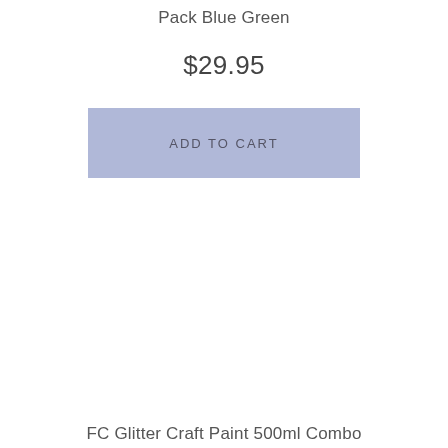Pack Blue Green
$29.95
ADD TO CART
FC Glitter Craft Paint 500ml Combo